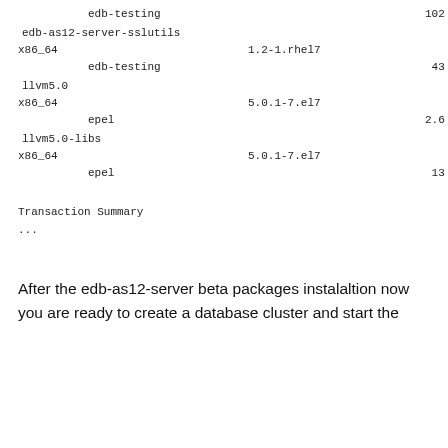edb-testing   102 k
edb-as12-server-sslutils
x86_64   1.2-1.rhel7
edb-testing   43 k
llvm5.0
x86_64   5.0.1-7.el7
epel   2.6 M
llvm5.0-libs
x86_64   5.0.1-7.el7
epel   13 M
Transaction Summary
...
After the edb-as12-server beta packages instalaltion now you are ready to create a database cluster and start the